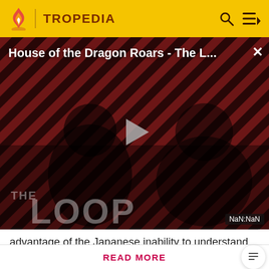TROPEDIA
[Figure (screenshot): Video player showing 'House of the Dragon Roars - The L...' with diagonal red and black stripe background, two dark silhouetted figures, THE LOOP branding text, a play button triangle, and NaN:NaN timestamp in bottom right corner.]
advantage of the Japanese inability to understand
Before making a single edit, Tropedia EXPECTS our site policy and manual of style to be followed. Failure to do so may
READ MORE